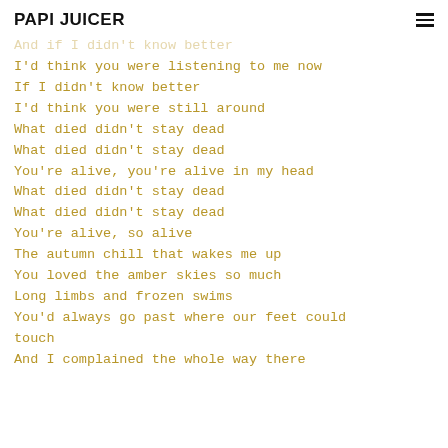PAPI JUICER
And if I didn't know better
I'd think you were listening to me now
If I didn't know better
I'd think you were still around
What died didn't stay dead
What died didn't stay dead
You're alive, you're alive in my head
What died didn't stay dead
What died didn't stay dead
You're alive, so alive
The autumn chill that wakes me up
You loved the amber skies so much
Long limbs and frozen swims
You'd always go past where our feet could touch
And I complained the whole way there